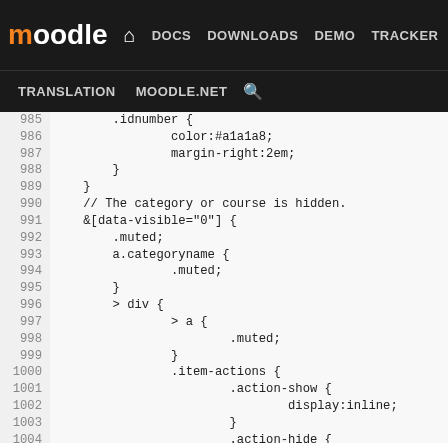Moodle DOCS DOWNLOADS DEMO TRACKER DEV TRANSLATION MOODLE.NET
[Figure (screenshot): Moodle developer documentation website header navigation bar with logo and nav links including DOCS, DOWNLOADS, DEMO, TRACKER, DEV (active/highlighted), TRANSLATION, MOODLE.NET, and search icon]
Code viewer showing CSS lines 985-1010 from a Moodle stylesheet, including .idnumber, &[data-visible="0"], .muted, a.categoryname, div > a, .item-actions, .action-show, .action-hide rules